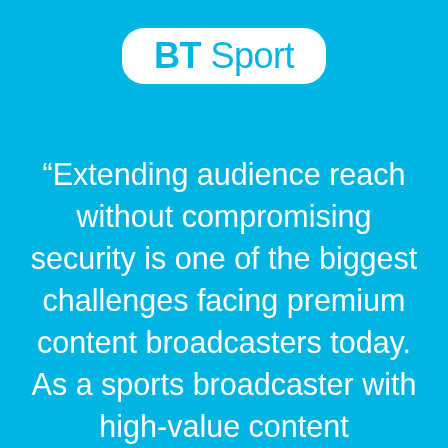[Figure (logo): BT Sport logo — white pill-shaped badge with 'BT Sport' text in cyan]
“Extending audience reach without compromising security is one of the biggest challenges facing premium content broadcasters today. As a sports broadcaster with high-value content